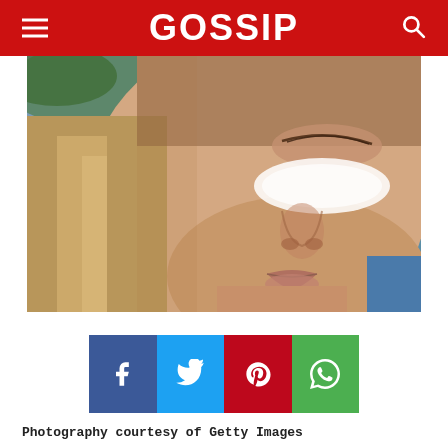GOSSIP
[Figure (photo): Close-up photo of a young woman with blonde hair, eyes closed, applying white sunscreen or cream on her cheek, sunlight illuminating her face]
[Figure (infographic): Social sharing buttons row: Facebook (blue), Twitter (light blue), Pinterest (red), WhatsApp (green)]
Photography courtesy of Getty Images